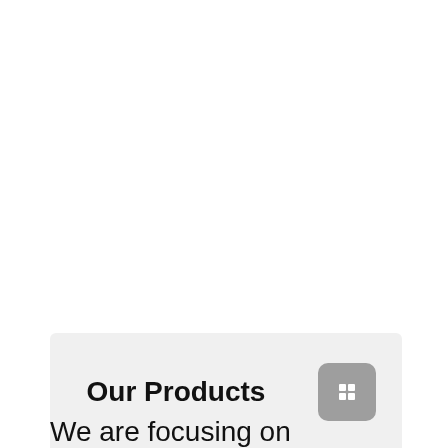Our Products
We are focusing on